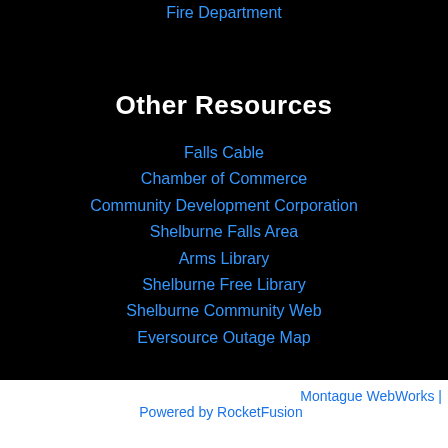Fire Department
Other Resources
Falls Cable
Chamber of Commerce
Community Development Corporation
Shelburne Falls Area
Arms Library
Shelburne Free Library
Shelburne Community Web
Eversource Outage Map
Montague WebWorks | Powered by RocketFusion